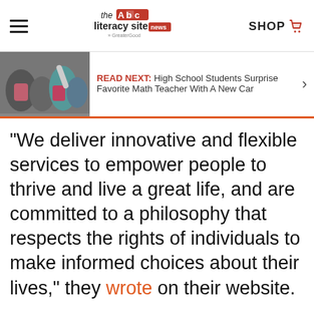the literacy site news — SHOP
[Figure (screenshot): READ NEXT: High School Students Surprise Favorite Math Teacher With A New Car — thumbnail image of students]
“We deliver innovative and flexible services to empower people to thrive and live a great life, and are committed to a philosophy that respects the rights of individuals to make informed choices about their lives,” they wrote on their website.
Click here to learn more about their services and programs, and watch the video